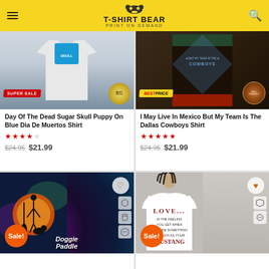T-SHIRT BEAR
[Figure (photo): Day of the Dead Sugar Skull Puppy t-shirt product photo with SUPER SALE badge and Best Choice seal]
Day Of The Dead Sugar Skull Puppy On Blue Dia De Muertos Shirt
★★★★½ rating, $24.95 crossed out, $21.99
[Figure (photo): I May Live In Mexico But My Team Is The Dallas Cowboys t-shirt product photo with BEST PRICE badge and Best Product seal]
I May Live In Mexico But My Team Is The Dallas Cowboys Shirt
★★★★★ rating, $24.95 crossed out, $21.99
[Figure (photo): Doggie Paddle t-shirt on black with galaxy background, Sale! badge]
[Figure (photo): Love... Is The Feeling You Get When You Like Something As Much As Your Mustang t-shirt, Sale! badge]